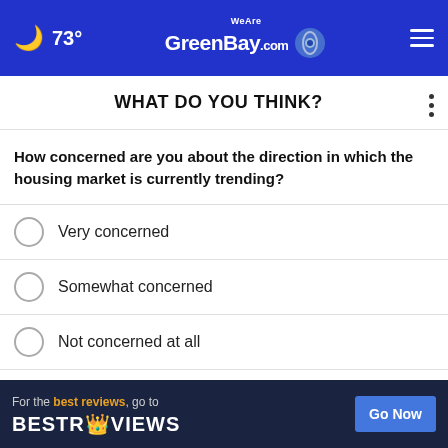73° WeAreGreenBay.com
WHAT DO YOU THINK?
How concerned are you about the direction in which the housing market is currently trending?
Very concerned
Somewhat concerned
Not concerned at all
Other / No opinion
NEXT *
* By clicking "NEXT" you agree to the following: We use cookies to track your survey answers. If you would like to continue with this survey please read and agree to the CivicScience Privacy Policy and Terms of Service.
[Figure (infographic): Advertisement banner: For the best reviews, go to BESTREVIEWS with a Go Now button]